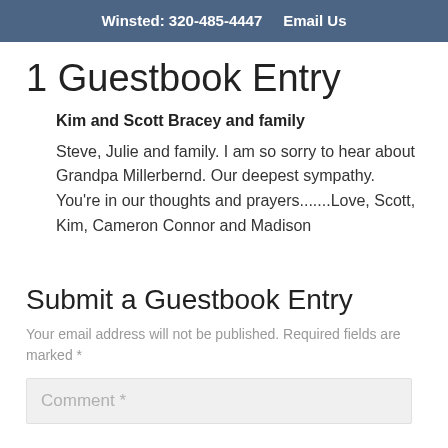Winsted: 320-485-4447   Email Us
1 Guestbook Entry
Kim and Scott Bracey and family
Steve, Julie and family. I am so sorry to hear about Grandpa Millerbernd. Our deepest sympathy. You’re in our thoughts and prayers.......Love, Scott, Kim, Cameron Connor and Madison
Submit a Guestbook Entry
Your email address will not be published. Required fields are marked *
Comment *